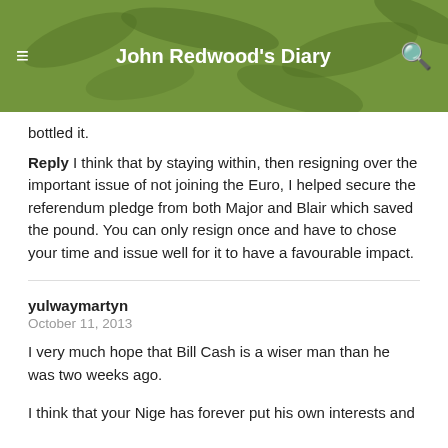John Redwood's Diary
bottled it.
Reply I think that by staying within, then resigning over the important issue of not joining the Euro, I helped secure the referendum pledge from both Major and Blair which saved the pound. You can only resign once and have to chose your time and issue well for it to have a favourable impact.
yulwaymartyn
October 11, 2013
I very much hope that Bill Cash is a wiser man than he was two weeks ago.
I think that your Nige has forever put his own interests and